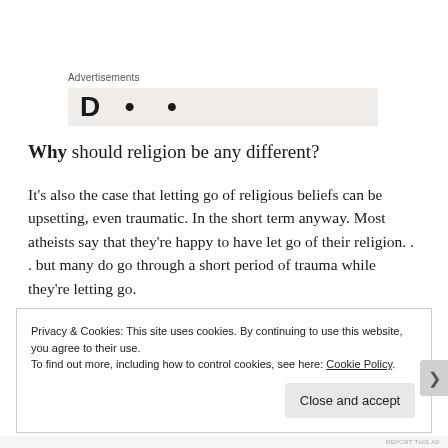Advertisements
[Figure (other): Partially visible advertisement banner with large bold letters on a light beige background]
Why should religion be any different?
It's also the case that letting go of religious beliefs can be upsetting, even traumatic. In the short term anyway. Most atheists say that they're happy to have let go of their religion. . . but many do go through a short period of trauma while they're letting go.
Privacy & Cookies: This site uses cookies. By continuing to use this website, you agree to their use.
To find out more, including how to control cookies, see here: Cookie Policy
Close and accept
REPORT THIS AD